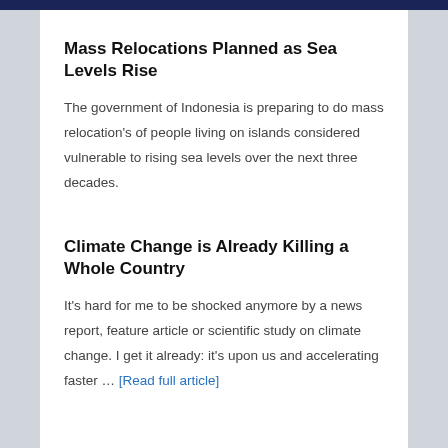Mass Relocations Planned as Sea Levels Rise
The government of Indonesia is preparing to do mass relocation's of people living on islands considered vulnerable to rising sea levels over the next three decades.
Climate Change is Already Killing a Whole Country
It's hard for me to be shocked anymore by a news report, feature article or scientific study on climate change. I get it already: it's upon us and accelerating faster … [Read full article]